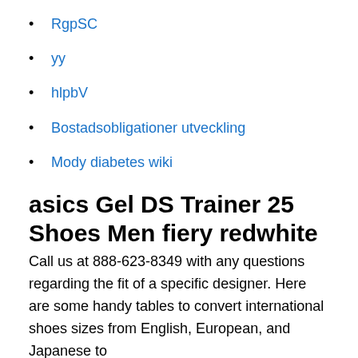RgpSC
yy
hlpbV
Bostadsobligationer utveckling
Mody diabetes wiki
asics Gel DS Trainer 25 Shoes Men fiery redwhite
Call us at 888-623-8349 with any questions regarding the fit of a specific designer. Here are some handy tables to convert international shoes sizes from English, European, and Japanese to